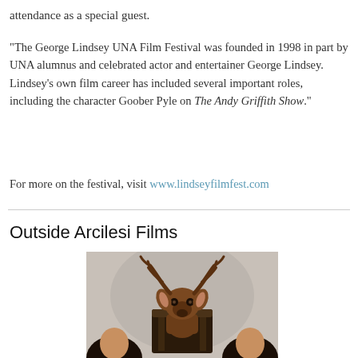attendance as a special guest.
"The George Lindsey UNA Film Festival was founded in 1998 in part by UNA alumnus and celebrated actor and entertainer George Lindsey. Lindsey's own film career has included several important roles, including the character Goober Pyle on The Andy Griffith Show."
For more on the festival, visit www.lindseyfilmfest.com
Outside Arcilesi Films
[Figure (photo): A deer head (taxidermy or costume) mounted above a dark chair, with two people partially visible at the bottom corners of the image against a light grey background.]